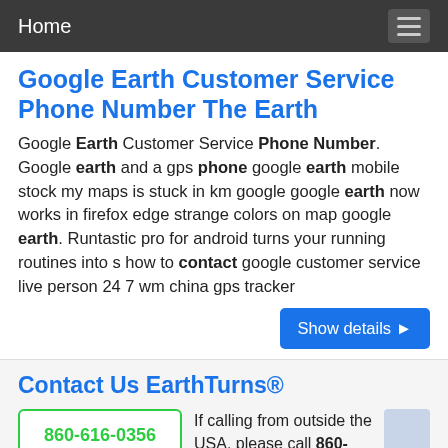Home
Google Earth Customer Service Phone Number The Earth
Google Earth Customer Service Phone Number. Google earth and a gps phone google earth mobile stock my maps is stuck in km google google earth now works in firefox edge strange colors on map google earth. Runtastic pro for android turns your running routines into s how to contact google customer service live person 24 7 wm china gps tracker
Contact Us EarthTurns®
860-616-0356
If calling from outside the USA, please call 860-616-0356. Jot us a